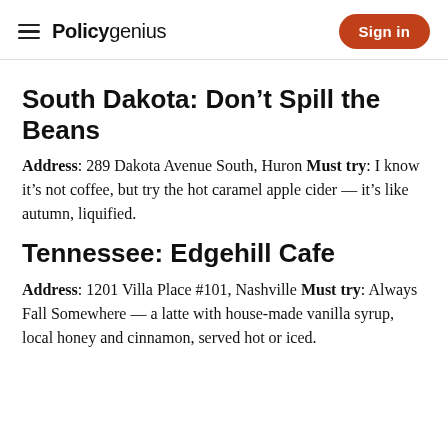Policygenius | Sign in
South Dakota: Don't Spill the Beans
Address: 289 Dakota Avenue South, Huron Must try: I know it's not coffee, but try the hot caramel apple cider — it's like autumn, liquified.
Tennessee: Edgehill Cafe
Address: 1201 Villa Place #101, Nashville Must try: Always Fall Somewhere — a latte with house-made vanilla syrup, local honey and cinnamon, served hot or iced.